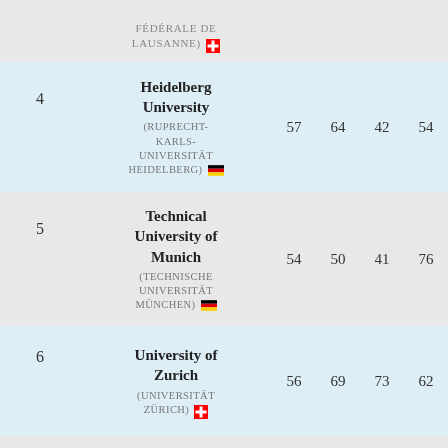| Rank | Institution | Col1 | Col2 | Col3 | Col4 |
| --- | --- | --- | --- | --- | --- |
|  | FÉDÉRALE DE LAUSANNE) 🇨🇭 |  |  |  |  |
| 4 | Heidelberg University (RUPRECHT-KARLS-UNIVERSITÄT HEIDELBERG) 🇩🇪 | 57 | 64 | 42 | 54 |
| 5 | Technical University of Munich (TECHNISCHE UNIVERSITÄT MÜNCHEN) 🇩🇪 | 54 | 50 | 41 | 76 |
| 6 | University of Zurich (UNIVERSITÄT ZÜRICH) 🇨🇭 | 56 | 69 | 73 | 62 |
| (NR) | Humboldt | (NR) | 117 | 80 | 82 |